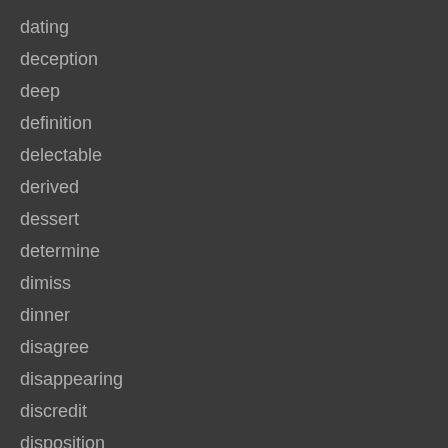dance
dating
deception
deep
definition
delectable
derived
dessert
determine
dimiss
dinner
disagree
disappearing
discredit
disposition